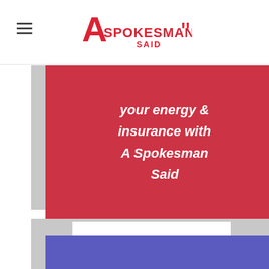A Spokesman Said
[Figure (logo): A Spokesman Said logo in red with quotation mark icon]
your energy & insurance with A Spokesman Said
[Figure (advertisement): Amazon.co.uk advertisement: Great Selection Low Prices - Shop now]
[Figure (other): Blue banner at bottom of page]